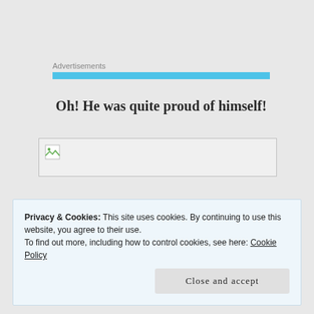Advertisements
Oh! He was quite proud of himself!
[Figure (other): Broken image placeholder with a small landscape icon in the top-left corner]
Privacy & Cookies: This site uses cookies. By continuing to use this website, you agree to their use.
To find out more, including how to control cookies, see here: Cookie Policy
Close and accept